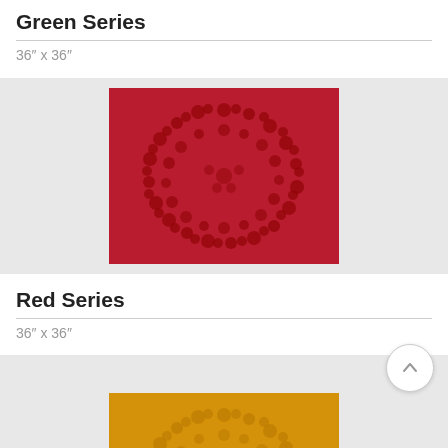Green Series
36″ x 36″
[Figure (photo): Artwork from Red Series: a deep red square canvas with a circular arrangement of red floral/sculptural elements forming a ring pattern on a red background.]
Red Series
36″ x 36″
[Figure (photo): Artwork from Yellow/Gold Series: a golden-yellow square canvas with a circular arrangement of yellow sculptural elements partially visible at bottom of page.]